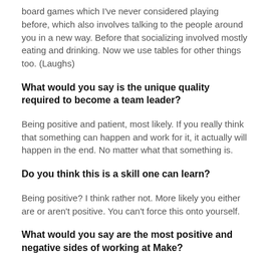board games which I've never considered playing before, which also involves talking to the people around you in a new way. Before that socializing involved mostly eating and drinking. Now we use tables for other things too. (Laughs)
What would you say is the unique quality required to become a team leader?
Being positive and patient, most likely. If you really think that something can happen and work for it, it actually will happen in the end. No matter what that something is.
Do you think this is a skill one can learn?
Being positive? I think rather not. More likely you either are or aren't positive. You can't force this onto yourself.
What would you say are the most positive and negative sides of working at Make?